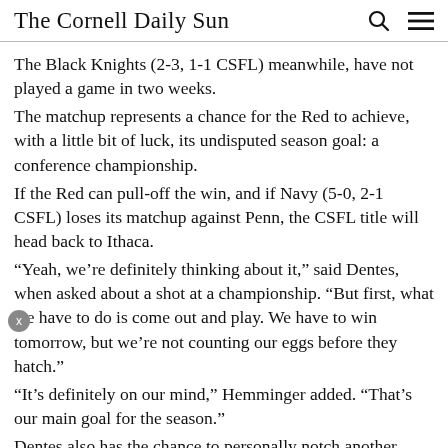The Cornell Daily Sun
The Black Knights (2-3, 1-1 CSFL) meanwhile, have not played a game in two weeks.
The matchup represents a chance for the Red to achieve, with a little bit of luck, its undisputed season goal: a conference championship.
If the Red can pull-off the win, and if Navy (5-0, 2-1 CSFL) loses its matchup against Penn, the CSFL title will head back to Ithaca.
“Yeah, we’re definitely thinking about it,” said Dentes, when asked about a shot at a championship. “But first, what we have to do is come out and play. We have to win tomorrow, but we’re not counting our eggs before they hatch.”
“It’s definitely on our mind,” Hemminger added. “That’s our main goal for the season.”
Dentes also has the chance to personally notch another important accomplishment: with 93 more yards passing